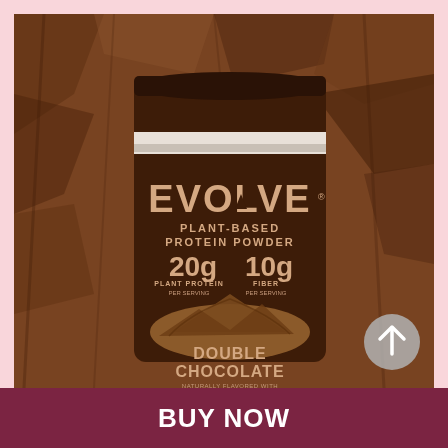[Figure (photo): Product photo of Evolve Plant-Based Protein Powder in Double Chocolate flavor, a brown canister with the EVOLVE logo and mountain graphic, showing 20g Plant Protein and 10g Fiber per serving, set against a rocky brown stone texture background.]
BUY NOW